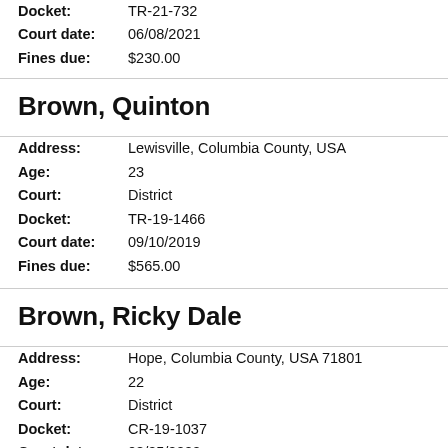Docket: TR-21-732
Court date: 06/08/2021
Fines due: $230.00
Brown, Quinton
Address: Lewisville, Columbia County, USA
Age: 23
Court: District
Docket: TR-19-1466
Court date: 09/10/2019
Fines due: $565.00
Brown, Ricky Dale
Address: Hope, Columbia County, USA 71801
Age: 22
Court: District
Docket: CR-19-1037
Court date: 08/25/2020
Fines due: $975.00
Brown, Ricky Dale
Address: Hope, Columbia County, USA 71801